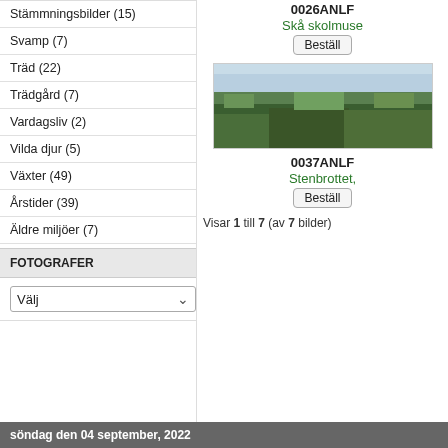Stämmningsbilder (15)
Svamp (7)
Träd (22)
Trädgård (7)
Vardagsliv (2)
Vilda djur (5)
Växter (49)
Årstider (39)
Äldre miljöer (7)
FOTOGRAFER
Välj
0026ANLF
Skå skolmuse
Beställ
[Figure (photo): Landscape panoramic photo showing a wide forest/vegetation scene with blue sky above]
0037ANLF
Stenbrottet,
Beställ
Visar 1 till 7 (av 7 bilder)
söndag den 04 september, 2022